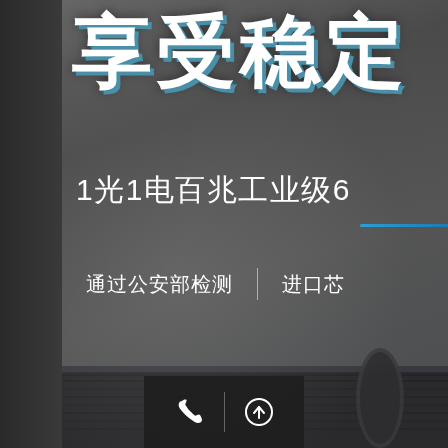享受稳定
1光1电百兆工业级6
通过公安部检测 | 进口芯
[Figure (screenshot): Bottom navigation bar with phone icon and up-arrow icon on dark background]